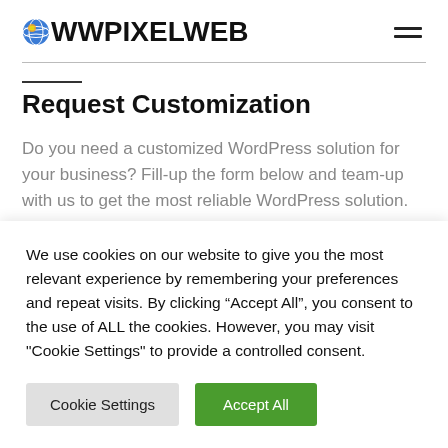WOWPIXELWEB
Request Customization
Do you need a customized WordPress solution for your business? Fill-up the form below and team-up with us to get the most reliable WordPress solution. Our customer service executive will get in touch with you
We use cookies on our website to give you the most relevant experience by remembering your preferences and repeat visits. By clicking “Accept All”, you consent to the use of ALL the cookies. However, you may visit "Cookie Settings" to provide a controlled consent.